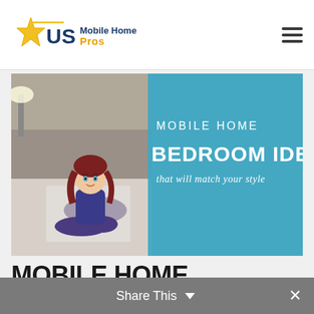US Mobile Home Pros
[Figure (illustration): Banner image for Mobile Home Bedroom Ideas article. Shows a cartoon avatar of a woman with red hair sitting cross-legged on the left side, with a real bedroom photo in the background. A blue overlay on the right reads: MOBILE HOME BEDROOM IDEAS that will match your style.]
MOBILE HOME BEDROOM IDEAS: CHOOSE YOUR STYLE
Share This ∨  ×